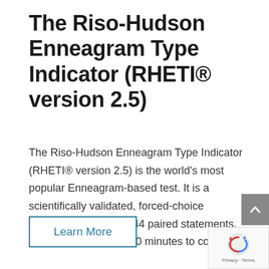The Riso-Hudson Enneagram Type Indicator (RHETI® version 2.5)
The Riso-Hudson Enneagram Type Indicator (RHETI® version 2.5) is the world's most popular Enneagram-based test. It is a scientifically validated, forced-choice personality test with 144 paired statements. The test takes about 40 minutes to complete.
Learn More